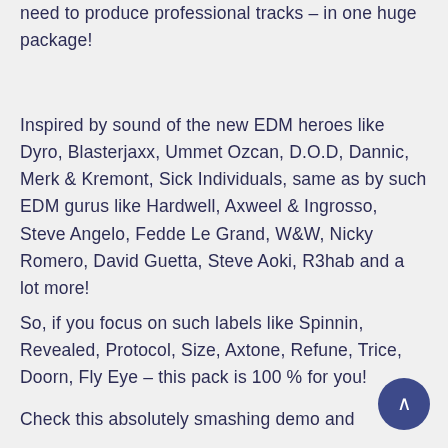need to produce professional tracks – in one huge package!
Inspired by sound of the new EDM heroes like Dyro, Blasterjaxx, Ummet Ozcan, D.O.D, Dannic, Merk & Kremont, Sick Individuals, same as by such EDM gurus like Hardwell, Axweel & Ingrosso, Steve Angelo, Fedde Le Grand, W&W, Nicky Romero, David Guetta, Steve Aoki, R3hab and a lot more!
So, if you focus on such labels like Spinnin, Revealed, Protocol, Size, Axtone, Refune, Trice, Doorn, Fly Eye – this pack is 100 % for you!
Check this absolutely smashing demo and